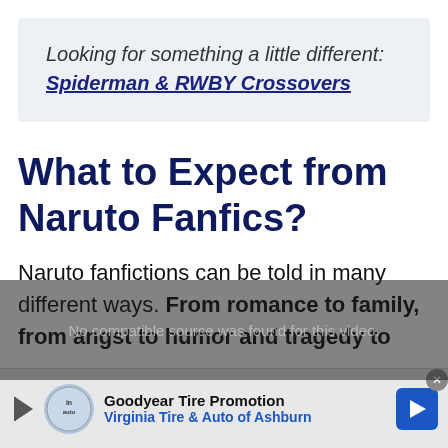Looking for something a little different: Spiderman & RWBY Crossovers
What to Expect from Naruto Fanfics?
Naruto fanfictions can be told in many different ways. From romance to family, from angst to humor and tragedy to
[Figure (other): Advertisement bar: Goodyear Tire Promotion — Virginia Tire & Auto of Ashburn, with logo circle, play arrow, and blue navigation arrow icon]